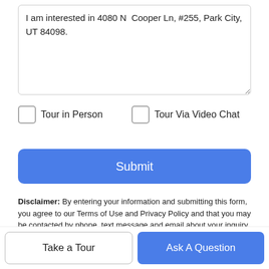I am interested in 4080 N  Cooper Ln, #255, Park City, UT 84098.
Tour in Person
Tour Via Video Chat
Submit
Disclaimer: By entering your information and submitting this form, you agree to our Terms of Use and Privacy Policy and that you may be contacted by phone, text message and email about your inquiry.
Based on information from the Wasatch Front Regional Multiple
Take a Tour
Ask A Question